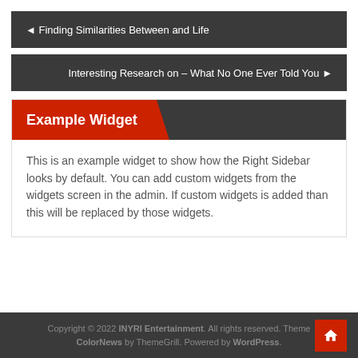◄ Finding Similarities Between and Life
Interesting Research on – What No One Ever Told You ►
Example Widget
This is an example widget to show how the Right Sidebar looks by default. You can add custom widgets from the widgets screen in the admin. If custom widgets is added than this will be replaced by those widgets.
Copyright © 2022 INYRI Entertainment. All rights reserved. Theme ColorNews by ThemeGrill. Powered by WordPress.